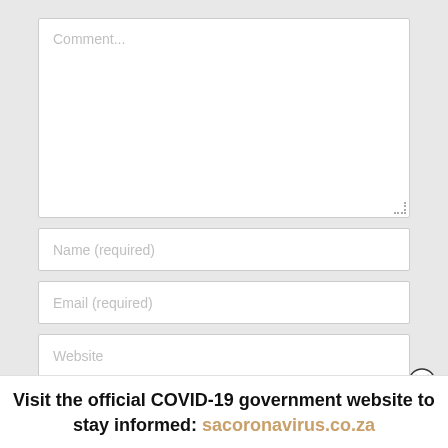[Figure (screenshot): Web comment form with Comment textarea, Name (required), Email (required), Website input fields, a checkbox agreeing to data storage, and a POST COMMENT button]
Visit the official COVID-19 government website to stay informed: sacoronavirus.co.za